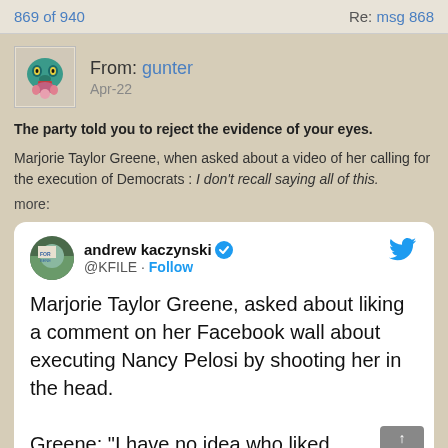869 of 940    Re: msg 868
From: gunter
Apr-22
The party told you to reject the evidence of your eyes.
Marjorie Taylor Greene, when asked about a video of her calling for the execution of Democrats : I don't recall saying all of this.
more:
[Figure (screenshot): Embedded tweet from andrew kaczynski @KFILE with Twitter bird logo. Tweet text: Marjorie Taylor Greene, asked about liking a comment on her Facebook wall about executing Nancy Pelosi by shooting her in the head. Greene: "I have no idea who liked]
TOP